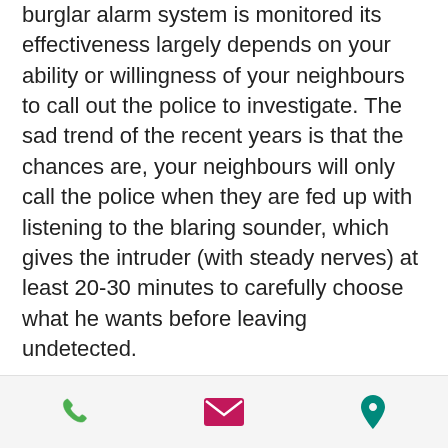burglar alarm system is monitored its effectiveness largely depends on your ability or willingness of your neighbours to call out the police to investigate. The sad trend of the recent years is that the chances are, your neighbours will only call the police when they are fed up with listening to the blaring sounder, which gives the intruder (with steady nerves) at least 20-30 minutes to carefully choose what he wants before leaving undetected.

To address the “weak spots” of each system, you can instead choose to use a ‘hybrid solution’, which now
phone | email | location icons